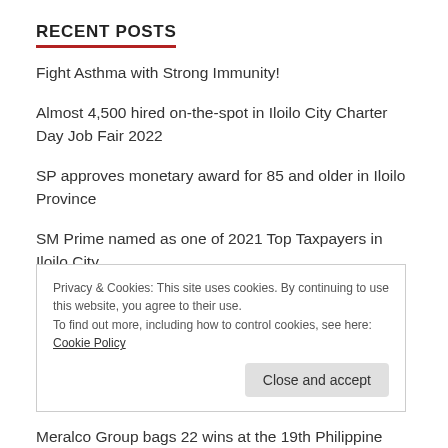RECENT POSTS
Fight Asthma with Strong Immunity!
Almost 4,500 hired on-the-spot in Iloilo City Charter Day Job Fair 2022
SP approves monetary award for 85 and older in Iloilo Province
SM Prime named as one of 2021 Top Taxpayers in Iloilo City
Free electrical connections for 2,000 households in Iloilo City
Privacy & Cookies: This site uses cookies. By continuing to use this website, you agree to their use.
To find out more, including how to control cookies, see here: Cookie Policy
Meralco Group bags 22 wins at the 19th Philippine